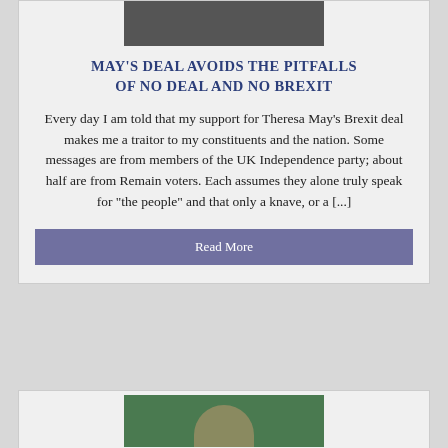[Figure (photo): Photo of person at top of first article card]
MAY'S DEAL AVOIDS THE PITFALLS OF NO DEAL AND NO BREXIT
Every day I am told that my support for Theresa May's Brexit deal makes me a traitor to my constituents and the nation. Some messages are from members of the UK Independence party; about half are from Remain voters. Each assumes they alone truly speak for "the people" and that only a knave, or a [...]
Read More
[Figure (photo): Photo of person at top of second article card]